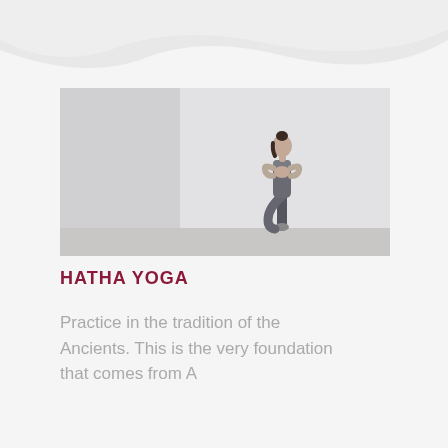[Figure (photo): Woman performing tree pose (Vrksasana) yoga stance in grey athletic wear against a light grey studio background]
HATHA YOGA
Practice in the tradition of the Ancients. This is the very foundation that comes from A…